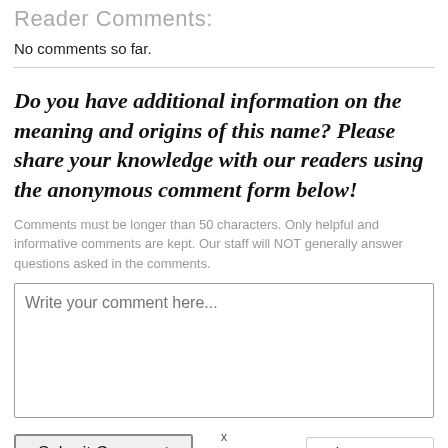Reader Comments:
No comments so far.
Do you have additional information on the meaning and origins of this name? Please share your knowledge with our readers using the anonymous comment form below!
Comments must be longer than 50 characters. Only helpful and informative comments are kept. Our staff will NOT generally answer questions asked in the comments.
Write your comment here...
Submit Comment
Characters: 0
x